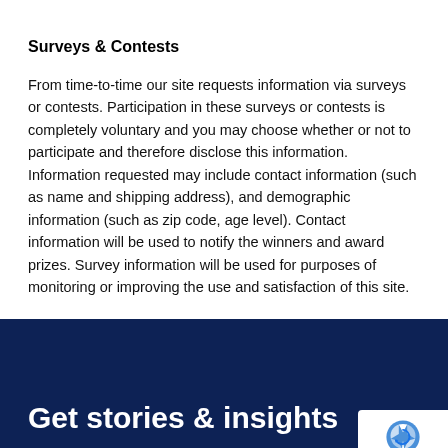Surveys & Contests
From time-to-time our site requests information via surveys or contests. Participation in these surveys or contests is completely voluntary and you may choose whether or not to participate and therefore disclose this information. Information requested may include contact information (such as name and shipping address), and demographic information (such as zip code, age level). Contact information will be used to notify the winners and award prizes. Survey information will be used for purposes of monitoring or improving the use and satisfaction of this site.
Get stories & insights